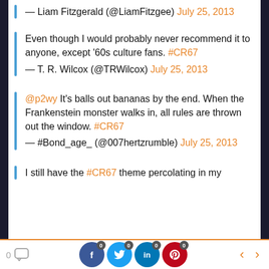— Liam Fitzgerald (@LiamFitzgee) July 25, 2013
Even though I would probably never recommend it to anyone, except '60s culture fans. #CR67 — T. R. Wilcox (@TRWilcox) July 25, 2013
@p2wy It's balls out bananas by the end. When the Frankenstein monster walks in, all rules are thrown out the window. #CR67 — #Bond_age_ (@007hertzrumble) July 25, 2013
I still have the #CR67 theme percolating in my
0  [comment icon] [Facebook 0] [Twitter 0] [LinkedIn 0] [Pinterest 0] < >